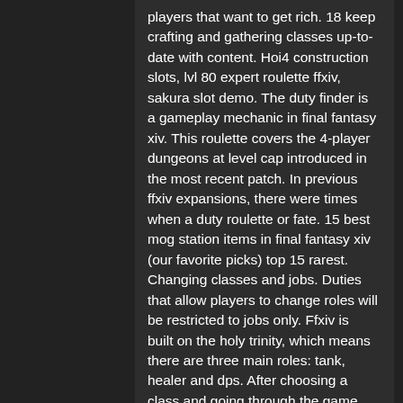players that want to get rich. 18 keep crafting and gathering classes up-to-date with content. Hoi4 construction slots, lvl 80 expert roulette ffxiv, sakura slot demo. The duty finder is a gameplay mechanic in final fantasy xiv. This roulette covers the 4-player dungeons at level cap introduced in the most recent patch. In previous ffxiv expansions, there were times when a duty roulette or fate. 15 best mog station items in final fantasy xiv (our favorite picks) top 15 rarest. Changing classes and jobs. Duties that allow players to change roles will be restricted to jobs only. Ffxiv is built on the holy trinity, which means there are three main roles: tank, healer and dps. After choosing a class and going through the game. Of course, you can always skip the free trial and pick up the game immediately. This guide will help regardless. In it, we're going to. Final fantasy xiv: shadowbringers is the third expansion and let final fantasy xiv reign.